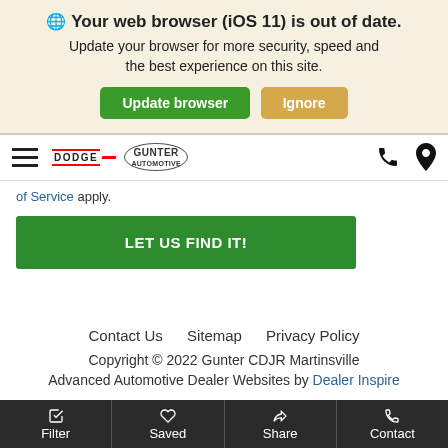Your web browser (iOS 11) is out of date. Update your browser for more security, speed and the best experience on this site.
Update browser | Ignore
[Figure (screenshot): Navigation bar with hamburger menu, Dodge and Gunter Automotive logos, phone and location icons]
of Service apply.
LET US FIND IT!
Contact Us   Sitemap   Privacy Policy
Copyright © 2022 Gunter CDJR Martinsville
Advanced Automotive Dealer Websites by Dealer Inspire
Filter   Saved   Share   Contact